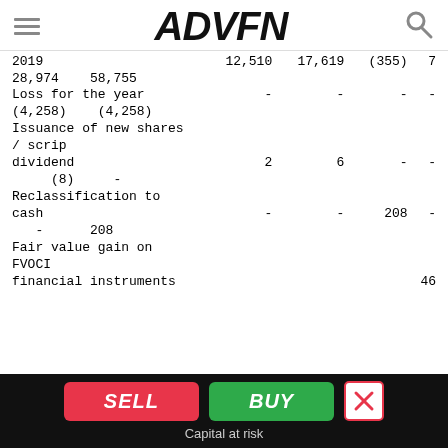ADVFN
| Description | Col1 | Col2 | Col3 | Col4 | Col5 | Col6 |
| --- | --- | --- | --- | --- | --- | --- |
| 2019 | 12,510 | 17,619 | (355) | 7 | 28,974 | 58,755 |
| Loss for the year | - | - | - | - | (4,258) | (4,258) |
| Issuance of new shares / scrip dividend | 2 | 6 | - | - | (8) | - |
| Reclassification to cash | - | - | 208 | - | - | 208 |
| Fair value gain on FVOCI financial instruments |  |  |  |  |  | 46 |